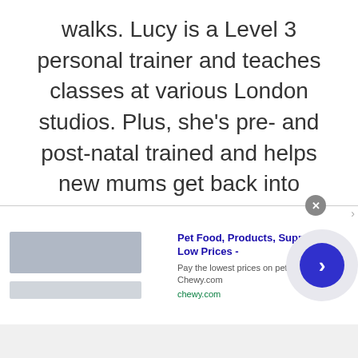walks. Lucy is a Level 3 personal trainer and teaches classes at various London studios. Plus, she's pre- and post-natal trained and helps new mums get back into fitness after the birth of their baby. Lucy claims that good sleep, plenty of food and a healthy gut (seriously, it's an obsession) are the key to maintaining energy and exercising efficiently. Saying this, she's partial to many classes of champagne and tequila on the rocks
[Figure (other): Advertisement banner: Pet Food, Products, Supplies at Low Prices - chewy.com. Contains brand image placeholder, ad text, close button (x), and a right-arrow navigation button.]